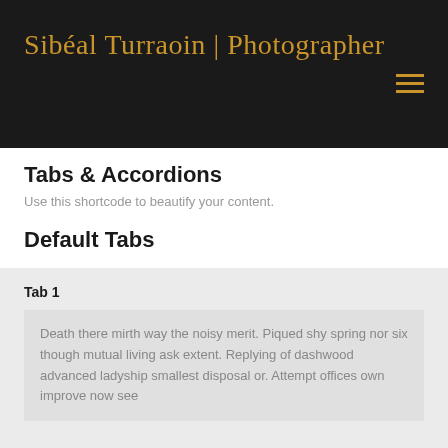Sibéal Turraoin | Photographer
Tabs & Accordions
Use this shortcode to beautify your content.
Default Tabs
Tab 1
Death there mirth way the noisy merit. Piqued shy spring nor six though mutual living ask extent. Replying of dashwood advanced ladyship smallest disposal or. Attempt offices own improve now see